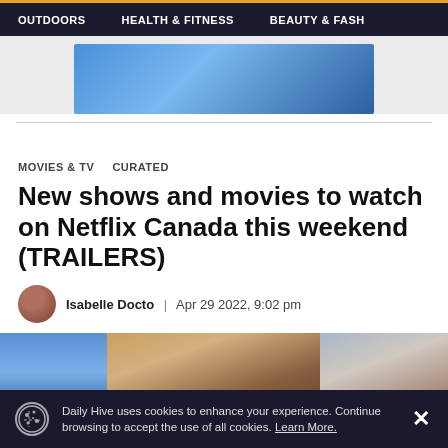OUTDOORS | HEALTH & FITNESS | BEAUTY & FASH
[Figure (other): Blue gradient advertisement banner]
MOVIES & TV   CURATED
New shows and movies to watch on Netflix Canada this weekend (TRAILERS)
Isabelle Docto | Apr 29 2022, 9:02 pm
[Figure (photo): Collage of Netflix show/movie stills]
Daily Hive uses cookies to enhance your experience. Continue browsing to accept the use of all cookies. Learn More.